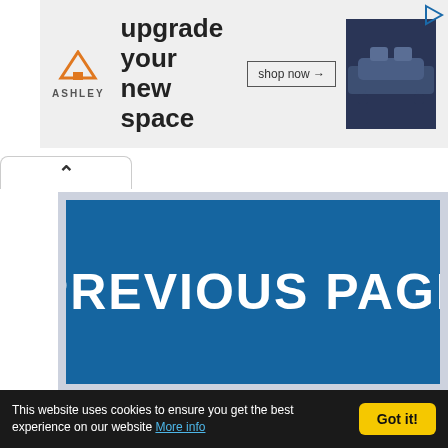[Figure (advertisement): Ashley Furniture banner ad showing logo, 'upgrade your new space' tagline, 'shop now' button, and a sofa image]
[Figure (other): Tab/chevron UI element below the ad banner]
PREVIOUS PAGE
[Near Mint w/ Box] Olympus M.Zuiko Digital
OLYMPUS M.Zuiko Digital ED 60mm F2.8
This website uses cookies to ensure you get the best experience on our website More info
Got it!